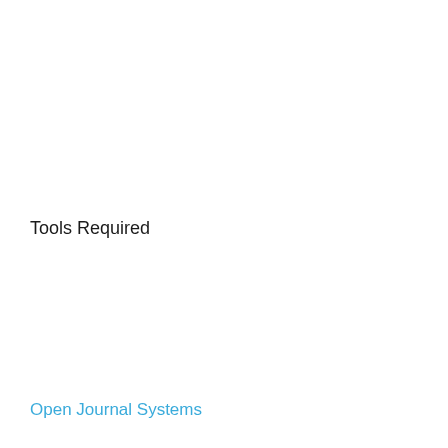Tools Required
Open Journal Systems